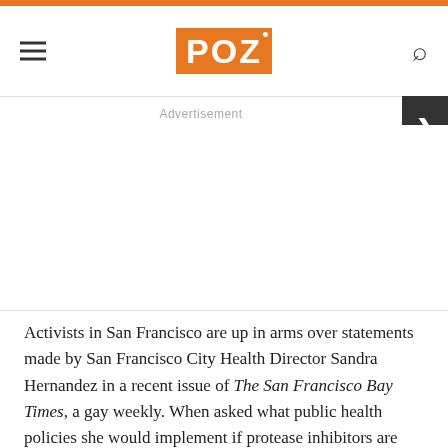POZ
Advertisement
Activists in San Francisco are up in arms over statements made by San Francisco City Health Director Sandra Hernandez in a recent issue of The San Francisco Bay Times, a gay weekly. When asked what public health policies she would implement if protease inhibitors are found to completely suppress or even eradicate HIV in the